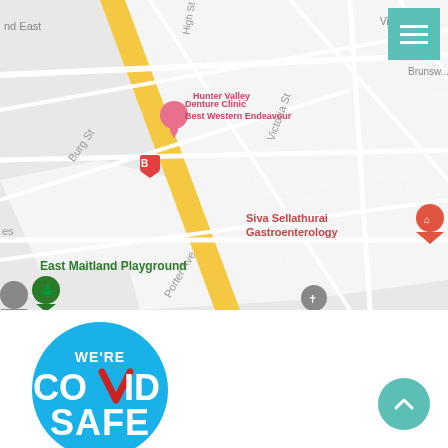[Figure (map): Google Maps screenshot showing East Maitland area with street grid. Notable locations include Hunter Valley Denture Clinic, Best Western Endeavour, Siva Sellathurai Gastroenterology, East Maitland Playground, Scouts Hall Cartoon Kingdom, Maitland Community Men's Shed. Streets include Burg St, Victoria St, Brunswick St, Porter Ave, Lawes St, Porter Ave. A yellow highlighted road (High St) runs diagonally.]
[Figure (logo): We're COVID Safe circular badge - blue circle with white text reading WE'RE COVID SAFE and a red checkmark styled as the letter V in COVID]